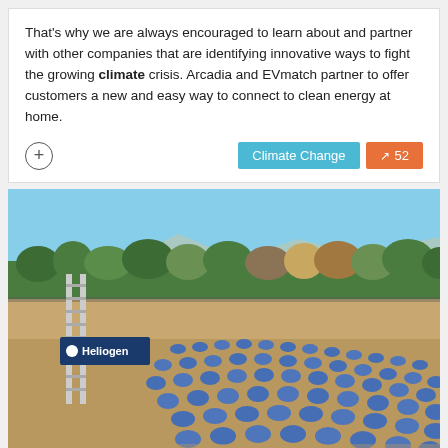That's why we are always encouraged to learn about and partner with other companies that are identifying innovative ways to fight the growing climate crisis. Arcadia and EVmatch partner to offer customers a new and easy way to connect to clean energy at home.
[Figure (infographic): Climate Change tag button (teal) and trending count button showing 52 (orange)]
[Figure (photo): Aerial photo of Heliogen solar concentrator facility showing a large field of circular blue mirrors (heliostats) arranged in a semicircular pattern around a central tower with a Heliogen logo sign. Desert landscape with trees in the background and mountains on the horizon.]